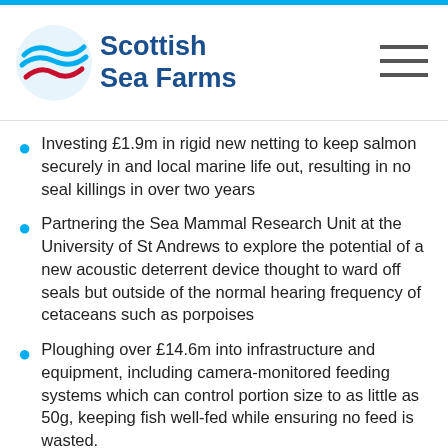Scottish Sea Farms
[Figure (logo): Scottish Sea Farms logo with circular wave emblem and company name in blue]
Investing £1.9m in rigid new netting to keep salmon securely in and local marine life out, resulting in no seal killings in over two years
Partnering the Sea Mammal Research Unit at the University of St Andrews to explore the potential of a new acoustic deterrent device thought to ward off seals but outside of the normal hearing frequency of cetaceans such as porpoises
Ploughing over £14.6m into infrastructure and equipment, including camera-monitored feeding systems which can control portion size to as little as 50g, keeping fish well-fed while ensuring no feed is wasted.
The study also shows that the value of the